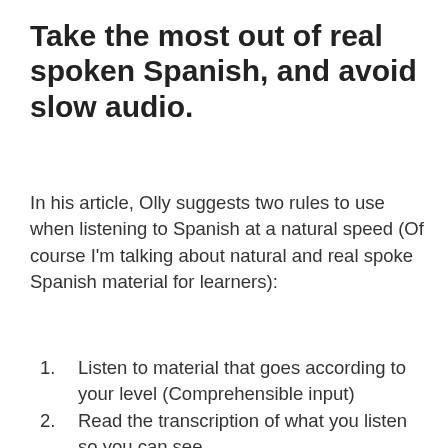Take the most out of real spoken Spanish, and avoid slow audio.
In his article, Olly suggests two rules to use when listening to Spanish at a natural speed (Of course I’m talking about natural and real spoke Spanish material for learners):
Listen to material that goes according to your level (Comprehensible input)
Read the transcription of what you listen so you can see